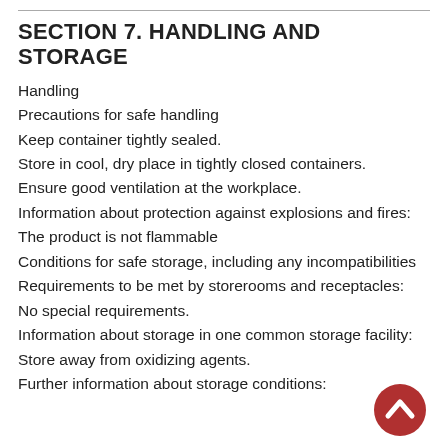SECTION 7. HANDLING AND STORAGE
Handling
Precautions for safe handling
Keep container tightly sealed.
Store in cool, dry place in tightly closed containers.
Ensure good ventilation at the workplace.
Information about protection against explosions and fires:
The product is not flammable
Conditions for safe storage, including any incompatibilities
Requirements to be met by storerooms and receptacles:
No special requirements.
Information about storage in one common storage facility:
Store away from oxidizing agents.
Further information about storage conditions:
[Figure (illustration): Red circular back-to-top button with white upward chevron arrow]